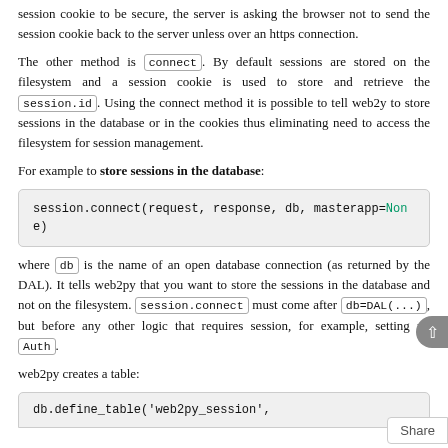session cookie to be secure, the server is asking the browser not to send the session cookie back to the server unless over an https connection.
The other method is connect. By default sessions are stored on the filesystem and a session cookie is used to store and retrieve the session.id. Using the connect method it is possible to tell web2y to store sessions in the database or in the cookies thus eliminating need to access the filesystem for session management.
For example to store sessions in the database:
[Figure (screenshot): Code block showing: session.connect(request, response, db, masterapp=None)]
where db is the name of an open database connection (as returned by the DAL). It tells web2py that you want to store the sessions in the database and not on the filesystem. session.connect must come after db=DAL(...), but before any other logic that requires session, for example, setting up Auth.
web2py creates a table:
[Figure (screenshot): Partial code block showing: db.define_table('web2py_session',]